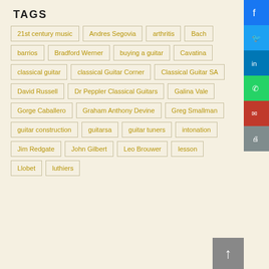TAGS
21st century music
Andres Segovia
arthritis
Bach
barrios
Bradford Werner
buying a guitar
Cavatina
classical guitar
classical Guitar Corner
Classical Guitar SA
David Russell
Dr Peppler Classical Guitars
Galina Vale
Gorge Caballero
Graham Anthony Devine
Greg Smallman
guitar construction
guitarsa
guitar tuners
intonation
Jim Redgate
John Gilbert
Leo Brouwer
lesson
Llobet
luthiers